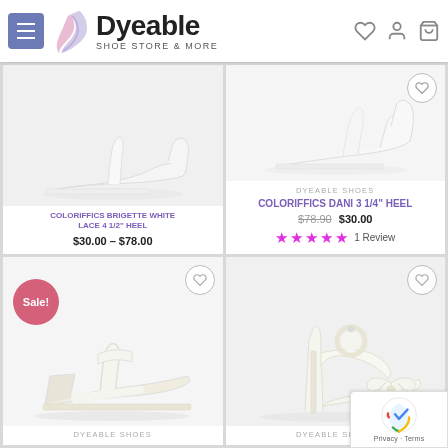[Figure (screenshot): Dyeable Shoe Store & More website header with logo, hamburger menu, heart icon, user icon, and cart icon]
[Figure (photo): White lace high heel shoe product photo - Coloriffics Brigette White Lace 4 1/2 inch heel]
COLORIFFICS BRIGETTE WHITE LACE 4 1/2” HEEL
$30.00 – $78.00
[Figure (photo): White satin heeled shoe product photo - Coloriffics Dani 3 1/4 inch heel]
DYEABLE SHOES
COLORIFFICS DANI 3 1/4” HEEL
$78.90 $30.00
★★★★★ 1 Review
[Figure (photo): White wedge sandal shoe with Sale! badge - bottom left product]
DYEABLE SHOES
[Figure (photo): White satin high heel with bow and ankle strap - bottom right product]
DYEABLE SHOES